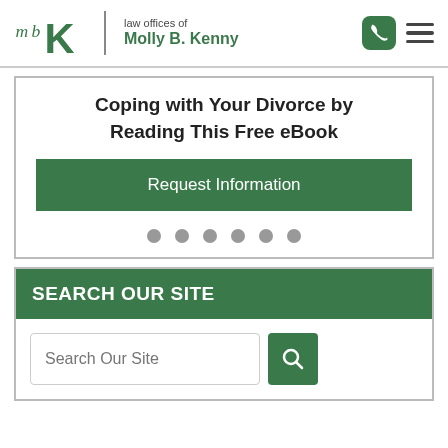[Figure (logo): Law Offices of Molly B. Kenny logo with stylized 'mbK' monogram in green and grey, with firm name text]
Coping with Your Divorce by Reading This Free eBook
Request Information
[Figure (other): Six grey pagination dots]
SEARCH OUR SITE
Search Our Site